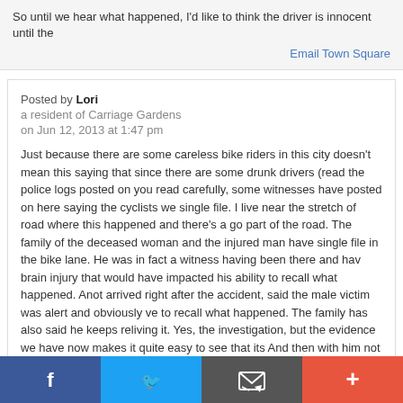So until we hear what happened, I'd like to think the driver is innocent until the
Email Town Square
Posted by Lori
a resident of Carriage Gardens
on Jun 12, 2013 at 1:47 pm
Just because there are some careless bike riders in this city doesn't mean this saying that since there are some drunk drivers (read the police logs posted on you read carefully, some witnesses have posted on here saying the cyclists we single file. I live near the stretch of road where this happened and there's a go part of the road. The family of the deceased woman and the injured man have single file in the bike lane. He was in fact a witness having been there and hav brain injury that would have impacted his ability to recall what happened. Anot arrived right after the accident, said the male victim was alert and obviously ve to recall what happened. The family has also said he keeps reliving it. Yes, the investigation, but the evidence we have now makes it quite easy to see that its And then with him not cooperating, this suggests he has something to hide. I c was about 20. No one died, but it was an awful accident. I didn't need a lawye what happened, because as much as I caused it, it was truly an accident and l
[Figure (infographic): Social sharing bar with Facebook, Twitter, Email, and plus buttons]